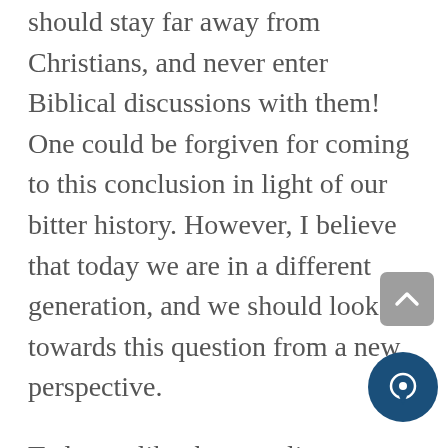should stay far away from Christians, and never enter Biblical discussions with them! One could be forgiven for coming to this conclusion in light of our bitter history. However, I believe that today we are in a different generation, and we should look towards this question from a new perspective.
Today, unlike those earlier episodes in our history, the Jewish people are no longer weak subjects of foreign rulers, but sovereign in our own State. While for centuries, Christians used to debate the Bible with the Jews to prove that they were right and we were wrong, today things are different. Many